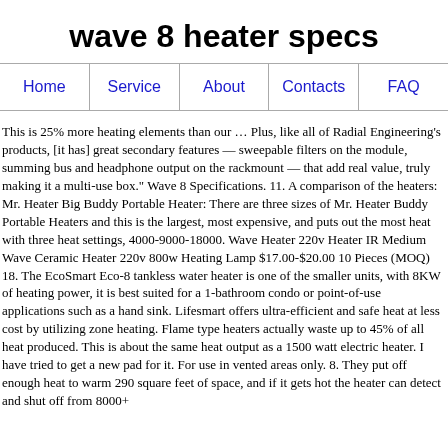wave 8 heater specs
Home | Service | About | Contacts | FAQ
This is 25% more heating elements than our … Plus, like all of Radial Engineering's products, [it has] great secondary features — sweepable filters on the module, summing bus and headphone output on the rackmount — that add real value, truly making it a multi-use box." Wave 8 Specifications. 11. A comparison of the heaters: Mr. Heater Big Buddy Portable Heater: There are three sizes of Mr. Heater Buddy Portable Heaters and this is the largest, most expensive, and puts out the most heat with three heat settings, 4000-9000-18000. Wave Heater 220v Heater IR Medium Wave Ceramic Heater 220v 800w Heating Lamp $17.00-$20.00 10 Pieces (MOQ) 18. The EcoSmart Eco-8 tankless water heater is one of the smaller units, with 8KW of heating power, it is best suited for a 1-bathroom condo or point-of-use applications such as a hand sink. Lifesmart offers ultra-efficient and safe heat at less cost by utilizing zone heating. Flame type heaters actually waste up to 45% of all heat produced. This is about the same heat output as a 1500 watt electric heater. I have tried to get a new pad for it. For use in vented areas only. 8. They put off enough heat to warm 290 square feet of space, and if it gets hot the heater can detect and shut off from 8000+